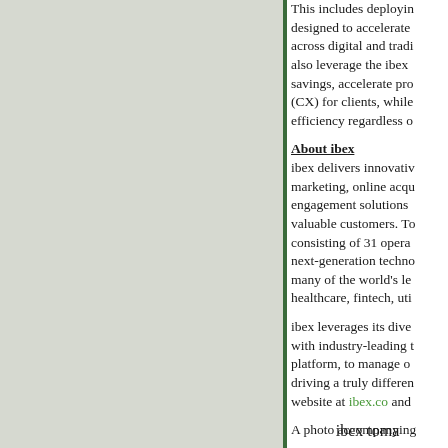[Figure (other): Left panel with grey-green background color block, bordered by a dark green vertical line on the right.]
This includes deploying designed to accelerate across digital and tradi also leverage the ibex savings, accelerate pro (CX) for clients, while efficiency regardless o
About ibex
ibex delivers innovativ marketing, online acqu engagement solutions valuable customers. To consisting of 31 opera next-generation techno many of the world's le healthcare, fintech, uti
ibex leverages its dive with industry-leading t platform, to manage o driving a truly differen website at ibex.co and
A photo accompanying
ibex toma